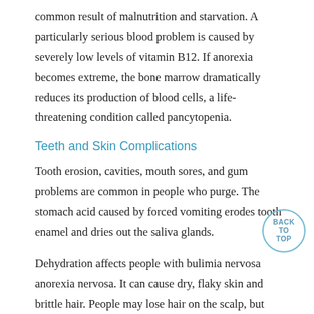common result of malnutrition and starvation. A particularly serious blood problem is caused by severely low levels of vitamin B12. If anorexia becomes extreme, the bone marrow dramatically reduces its production of blood cells, a life-threatening condition called pancytopenia.
Teeth and Skin Complications
Tooth erosion, cavities, mouth sores, and gum problems are common in people who purge. The stomach acid caused by forced vomiting erodes tooth enamel and dries out the saliva glands.
Dehydration affects people with bulimia nervosa anorexia nervosa. It can cause dry, flaky skin and brittle hair. People may lose hair on the scalp, but grow a layer of downy hair elsewhere, which is the